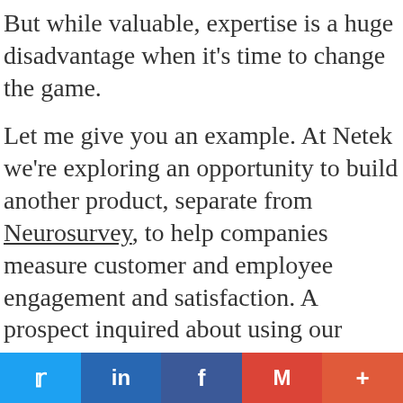But while valuable, expertise is a huge disadvantage when it’s time to change the game.
Let me give you an example. At Netek we’re exploring an opportunity to build another product, separate from Neurosurvey, to help companies measure customer and employee engagement and satisfaction. A prospect inquired about using our emotion recognition technology to help them measure employee engagement in their organization.
I reached out to a friend who runs a psychometric company, they’ve built many tests to measure various things. One focuses on measuring how
Twitter LinkedIn Facebook Gmail More